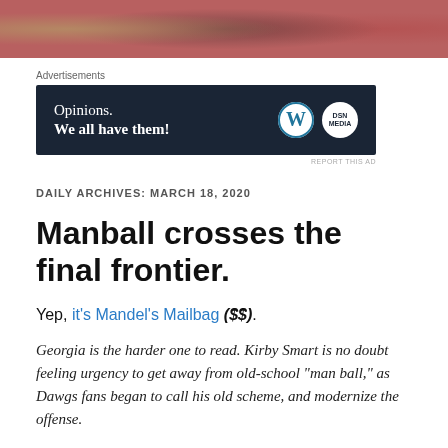[Figure (photo): Partial photo strip at top of page showing people, partially cropped]
Advertisements
[Figure (other): Advertisement banner: 'Opinions. We all have them!' with WordPress and DSN logos on dark navy background]
REPORT THIS AD
DAILY ARCHIVES: MARCH 18, 2020
Manball crosses the final frontier.
Yep, it's Mandel's Mailbag ($$).
Georgia is the harder one to read. Kirby Smart is no doubt feeling urgency to get away from old-school “man ball,” as Dawgs fans began to call his old scheme, and modernize the offense.